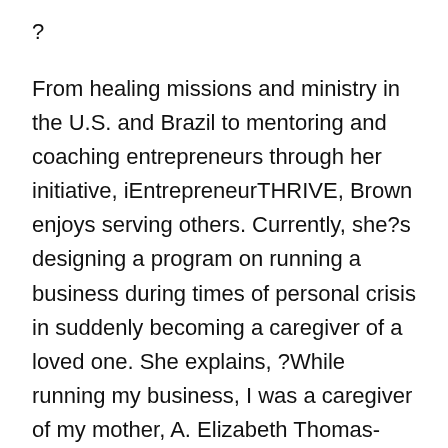?
From healing missions and ministry in the U.S. and Brazil to mentoring and coaching entrepreneurs through her initiative, iEntrepreneurTHRIVE, Brown enjoys serving others. Currently, she?s designing a program on running a business during times of personal crisis in suddenly becoming a caregiver of a loved one. She explains, ?While running my business, I was a caregiver of my mother, A. Elizabeth Thomas-Brown, for six years until her death, which activated my calling in ministering comfort and teaching coping skills to the emotionally brokenhearted and hurting. In the words of Dr. Martin Luther King, Jr., ?The ultimate measure of a man is not where he stands in moments